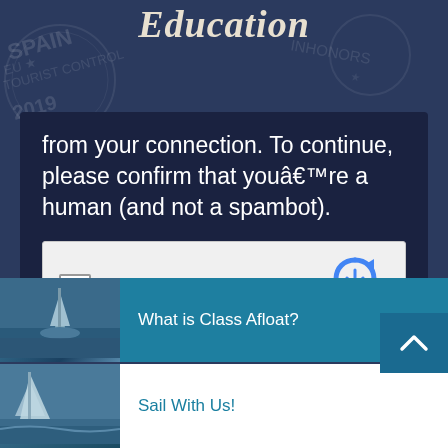Education
from your connection. To continue, please confirm that youâ€™re a human (and not a spambot).
[Figure (screenshot): reCAPTCHA widget with checkbox and 'I'm not a robot' label, reCAPTCHA logo, Privacy and Terms links]
[Figure (photo): Sailing vessel on water with coastal scenery]
What is Class Afloat?
[Figure (photo): Coastal or harbor scene with boats]
Sail With Us!